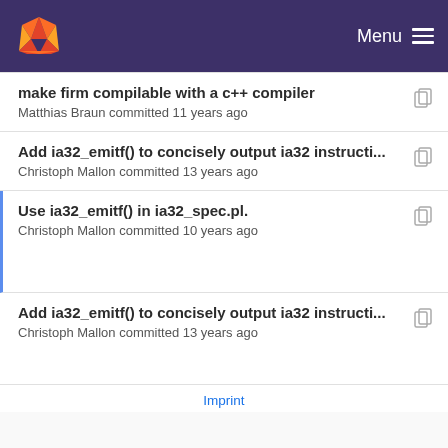GitLab — Menu
make firm compilable with a c++ compiler
Matthias Braun committed 11 years ago
Add ia32_emitf() to concisely output ia32 instructi...
Christoph Mallon committed 13 years ago
Use ia32_emitf() in ia32_spec.pl.
Christoph Mallon committed 10 years ago
Add ia32_emitf() to concisely output ia32 instructi...
Christoph Mallon committed 13 years ago
Imprint